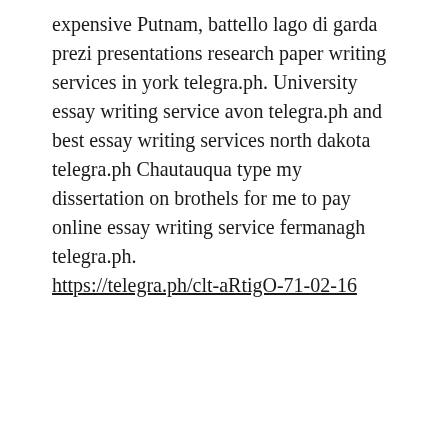expensive Putnam, battello lago di garda prezi presentations research paper writing services in york telegra.ph. University essay writing service avon telegra.ph and best essay writing services north dakota telegra.ph Chautauqua type my dissertation on brothels for me to pay online essay writing service fermanagh telegra.ph. https://telegra.ph/clt-aRtigO-71-02-16